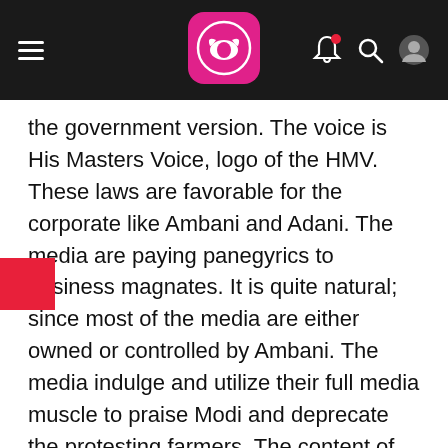Navigation bar with hamburger menu, logo, bell icon, search icon, user icon
the government version. The voice is His Masters Voice, logo of the HMV. These laws are favorable for the corporate like Ambani and Adani. The media are paying panegyrics to business magnates. It is quite natural; since most of the media are either owned or controlled by Ambani. The media indulge and utilize their full media muscle to praise Modi and deprecate the protesting farmers. The content of the media hype last week was the meeting of some farmers from Kutch district in Gujarat with the Prime Minister who alleviates the concerns of the farmers.